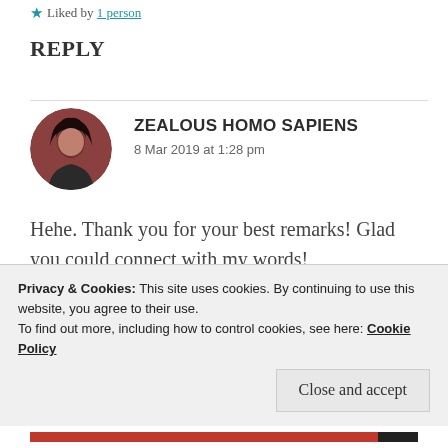★ Liked by 1 person
REPLY
ZEALOUS HOMO SAPIENS
8 Mar 2019 at 1:28 pm
Hehe. Thank you for your best remarks! Glad you could connect with my words!
★ Like
Privacy & Cookies: This site uses cookies. By continuing to use this website, you agree to their use.
To find out more, including how to control cookies, see here: Cookie Policy
Close and accept